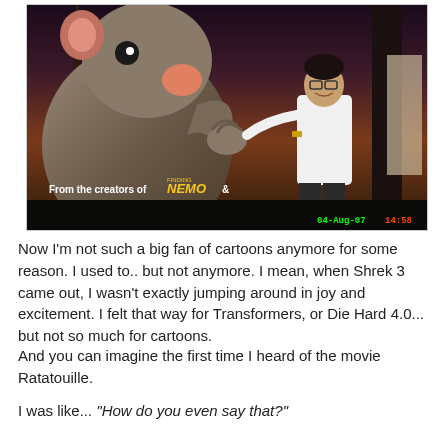[Figure (photo): A person smiling and posing next to a large Ratatouille movie promotional poster/billboard showing the character Remy the rat. The poster includes text 'From the creators of NEMO &'. A digital timestamp reads '04-Aug-07' in green in the bottom right corner.]
Now I'm not such a big fan of cartoons anymore for some reason. I used to.. but not anymore. I mean, when Shrek 3 came out, I wasn't exactly jumping around in joy and excitement. I felt that way for Transformers, or Die Hard 4.0... but not so much for cartoons.
And you can imagine the first time I heard of the movie Ratatouille.
I was like... "How do you even say that?"